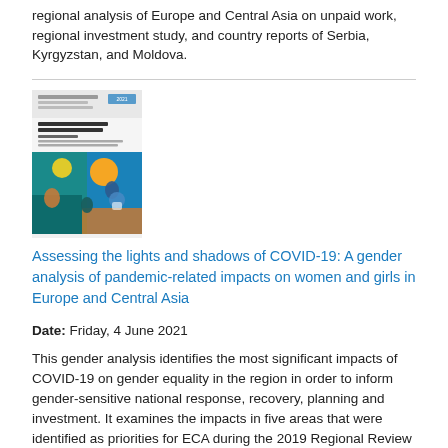regional analysis of Europe and Central Asia on unpaid work, regional investment study, and country reports of Serbia, Kyrgyzstan, and Moldova.
[Figure (illustration): Book cover for 'Assessing the lights and shadows of COVID-19: A gender analysis of pandemic-related impacts on women and girls in Europe and Central Asia'. Cover features colorful illustrated collage of women and diverse scenes in teal, orange, and blue tones.]
Assessing the lights and shadows of COVID-19: A gender analysis of pandemic-related impacts on women and girls in Europe and Central Asia
Date: Friday, 4 June 2021
This gender analysis identifies the most significant impacts of COVID-19 on gender equality in the region in order to inform gender-sensitive national response, recovery, planning and investment. It examines the impacts in five areas that were identified as priorities for ECA during the 2019 Regional Review Meeting on implementation of the Beijing Platform for Action (Beijing+25). Key actions for sustainable recovery are also presented, with detailed recommendations.